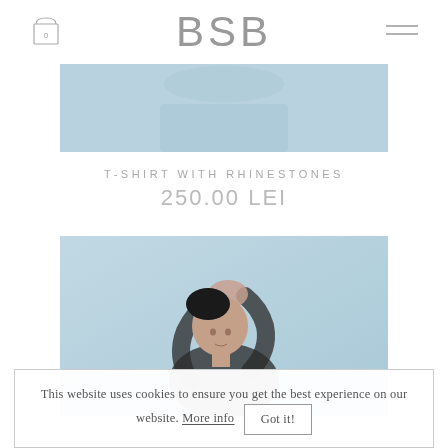BSB
[Figure (photo): Partial product photo strip showing a model in light blue background, cropped at top]
T-SHIRT WITH RHINESTONES
250.00 LEI
[Figure (photo): Fashion photo of a young woman in a dark sheer top with long sleeves, arms raised above head, against a light blue background]
This website uses cookies to ensure you get the best experience on our website. More info Got it!